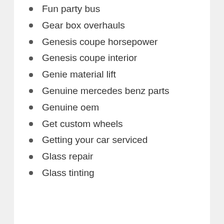Fun party bus
Gear box overhauls
Genesis coupe horsepower
Genesis coupe interior
Genie material lift
Genuine mercedes benz parts
Genuine oem
Get custom wheels
Getting your car serviced
Glass repair
Glass tinting